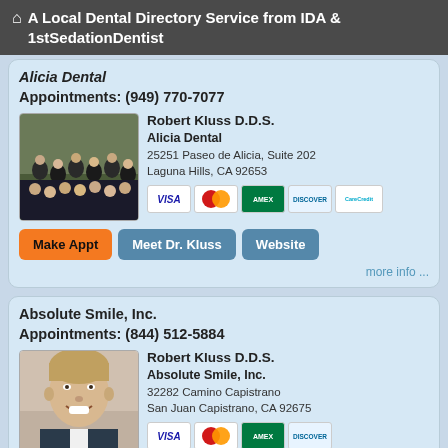A Local Dental Directory Service from IDA & 1stSedationDentist
Alicia Dental
Appointments: (949) 770-7077
[Figure (photo): Group photo of dental staff in black uniforms]
Robert Kluss D.D.S.
Alicia Dental
25251 Paseo de Alicia, Suite 202
Laguna Hills, CA 92653
[Figure (other): Payment method icons: Visa, Mastercard, Amex, Discover, CareCredit]
Make Appt   Meet Dr. Kluss   Website
more info ...
Absolute Smile, Inc.
Appointments: (844) 512-5884
[Figure (photo): Portrait photo of a smiling man in a suit]
Robert Kluss D.D.S.
Absolute Smile, Inc.
32282 Camino Capistrano
San Juan Capistrano, CA 92675
[Figure (other): Payment method icons: Visa, Mastercard, Amex, Discover]